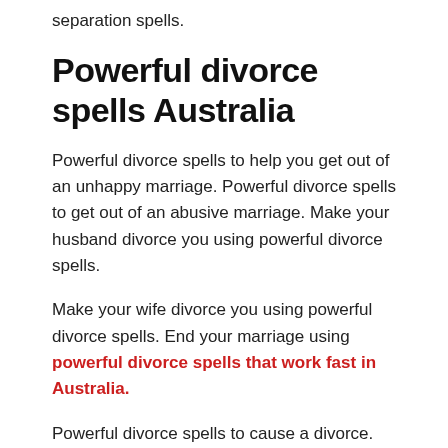separation spells.
Powerful divorce spells Australia
Powerful divorce spells to help you get out of an unhappy marriage. Powerful divorce spells to get out of an abusive marriage. Make your husband divorce you using powerful divorce spells.
Make your wife divorce you using powerful divorce spells. End your marriage using powerful divorce spells that work fast in Australia.
Powerful divorce spells to cause a divorce.